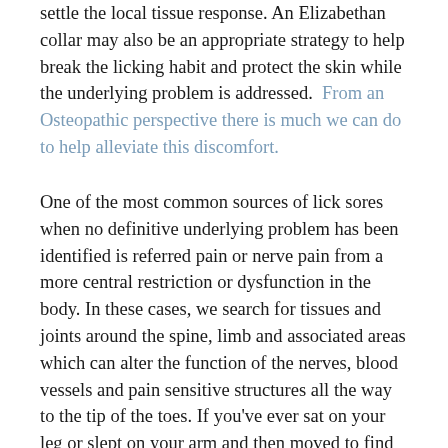settle the local tissue response. An Elizabethan collar may also be an appropriate strategy to help break the licking habit and protect the skin while the underlying problem is addressed. From an Osteopathic perspective there is much we can do to help alleviate this discomfort.
One of the most common sources of lick sores when no definitive underlying problem has been identified is referred pain or nerve pain from a more central restriction or dysfunction in the body. In these cases, we search for tissues and joints around the spine, limb and associated areas which can alter the function of the nerves, blood vessels and pain sensitive structures all the way to the tip of the toes. If you've ever sat on your leg or slept on your arm and then moved to find your limb initially 'dead', closely followed by a strong pins and needles sensation or many other odd sensations